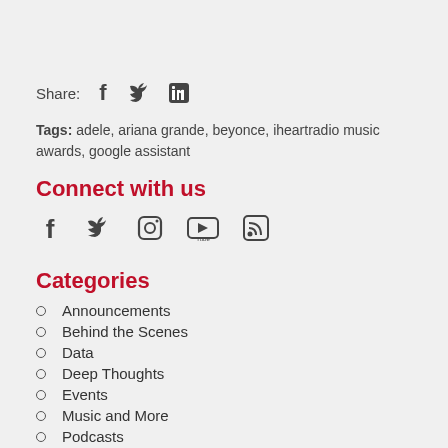Share: [facebook] [twitter] [linkedin]
Tags: adele, ariana grande, beyonce, iheartradio music awards, google assistant
Connect with us
[Figure (other): Social media icons: facebook, twitter, instagram, youtube, rss]
Categories
Announcements
Behind the Scenes
Data
Deep Thoughts
Events
Music and More
Podcasts